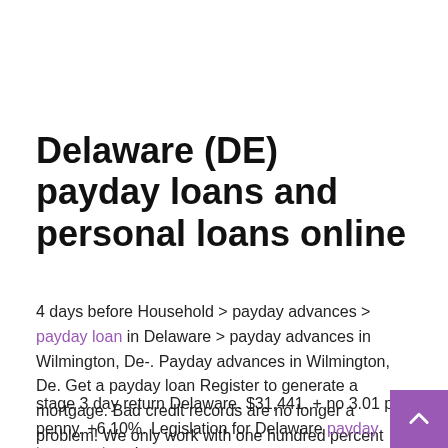Delaware (DE) payday loans and personal loans online
4 days before Household > payday advances > payday loan in Delaware > payday advances in Wilmington, De-. Payday advances in Wilmington, De. Get a payday loan Register to generate a mortgage. Bad credit records are no longer a problem! We only work with one hundred percent trustworthy direct loan providers. You can get approval within 24 hours Acquire money very quickly.
stage 3 day return Delaware. $31,441. + no 3.01 per penny. +6.10%. Legislation for Delaware payday loans and cash